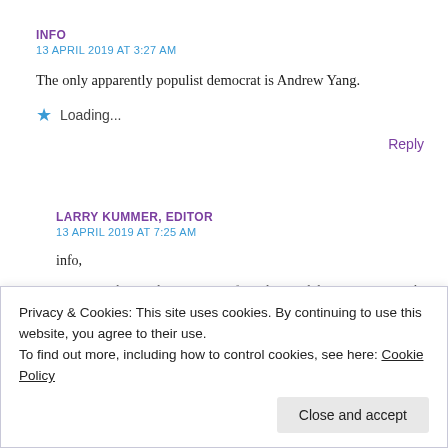INFO
13 APRIL 2019 AT 3:27 AM
The only apparently populist democrat is Andrew Yang.
Loading...
Reply
LARRY KUMMER, EDITOR
13 APRIL 2019 AT 7:25 AM
info,
“Populism” is, like so many terms these days, used without fixed meaning,
consumption, the usual cornucopia of goodies, and does not mention the
Privacy & Cookies: This site uses cookies. By continuing to use this website, you agree to their use.
To find out more, including how to control cookies, see here: Cookie Policy
Close and accept